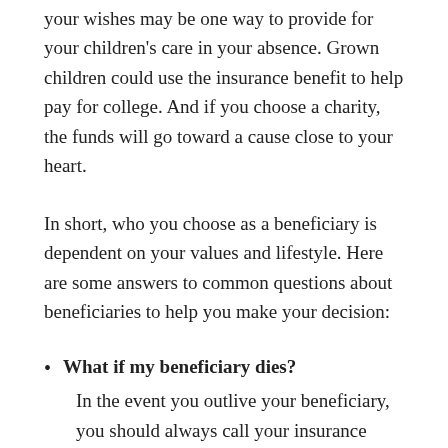your wishes may be one way to provide for your children's care in your absence. Grown children could use the insurance benefit to help pay for college. And if you choose a charity, the funds will go toward a cause close to your heart.
In short, who you choose as a beneficiary is dependent on your values and lifestyle. Here are some answers to common questions about beneficiaries to help you make your decision:
What if my beneficiary dies? In the event you outlive your beneficiary, you should always call your insurance agent to update your policy. And ideally, you should always name a primary and contingent or secondary, beneficiary. Naming a